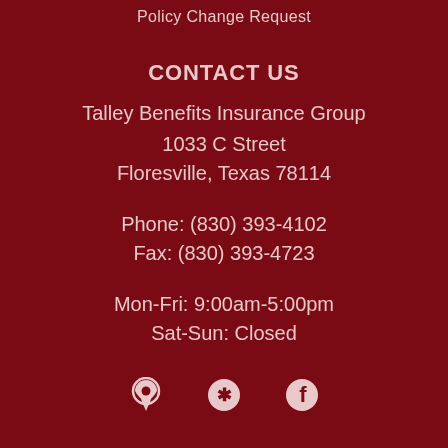Policy Change Request
CONTACT US
Talley Benefits Insurance Group
1033 C Street
Floresville, Texas 78114
Phone: (830) 393-4102
Fax: (830) 393-4723
Mon-Fri: 9:00am-5:00pm
Sat-Sun: Closed
[Figure (illustration): Three social media icons: map pin (Google Maps/location), Yelp star, and Facebook circle logo, displayed in white on dark red background]